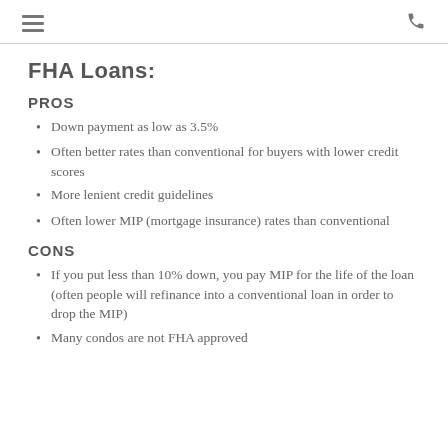[hamburger menu icon] [phone icon]
FHA Loans:
PROS
Down payment as low as 3.5%
Often better rates than conventional for buyers with lower credit scores
More lenient credit guidelines
Often lower MIP (mortgage insurance) rates than conventional
CONS
If you put less than 10% down, you pay MIP for the life of the loan (often people will refinance into a conventional loan in order to drop the MIP)
Many condos are not FHA approved